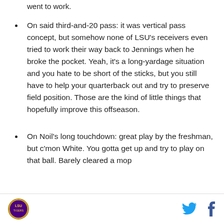On said third-and-20 pass: it was vertical pass concept, but somehow none of LSU's receivers even tried to work their way back to Jennings when he broke the pocket. Yeah, it's a long-yardage situation and you hate to be short of the sticks, but you still have to help your quarterback out and try to preserve field position. Those are the kind of little things that hopefully improve this offseason.
On Noil's long touchdown: great play by the freshman, but c'mon White. You gotta get up and try to play on that ball. Barely cleared a mop